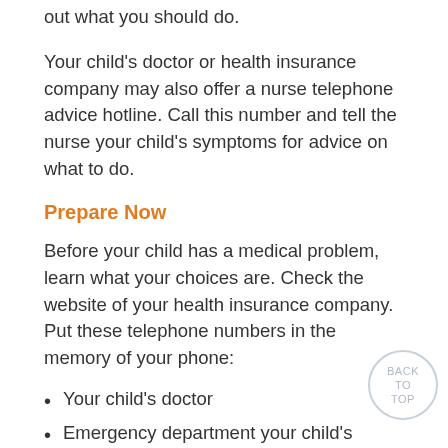out what you should do.
Your child's doctor or health insurance company may also offer a nurse telephone advice hotline. Call this number and tell the nurse your child's symptoms for advice on what to do.
Prepare Now
Before your child has a medical problem, learn what your choices are. Check the website of your health insurance company. Put these telephone numbers in the memory of your phone:
Your child's doctor
Emergency department your child's doctor recommends
Poison control center